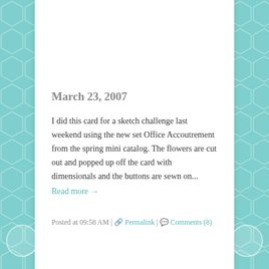March 23, 2007
I did this card for a sketch challenge last weekend using the new set Office Accoutrement from the spring mini catalog. The flowers are cut out and popped up off the card with dimensionals and the buttons are sewn on...
Read more →
Posted at 09:58 AM | Permalink | Comments (8)